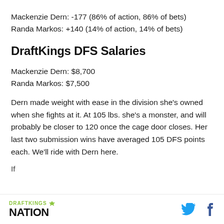Mackenzie Dern: -177 (86% of action, 86% of bets)
Randa Markos: +140 (14% of action, 14% of bets)
DraftKings DFS Salaries
Mackenzie Dern: $8,700
Randa Markos: $7,500
Dern made weight with ease in the division she's owned when she fights at it. At 105 lbs. she's a monster, and will probably be closer to 120 once the cage door closes. Her last two submission wins have averaged 105 DFS points each. We'll ride with Dern here.
DraftKings Nation